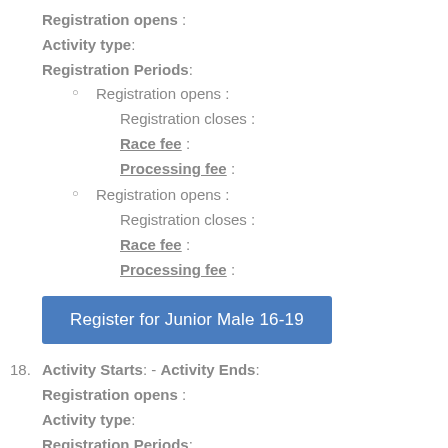Registration opens :
Activity type:
Registration Periods:
Registration opens :
Registration closes :
Race fee :
Processing fee :
Registration opens :
Registration closes :
Race fee :
Processing fee :
Register for Junior Male 16-19
18. Activity Starts: - Activity Ends:
Registration opens :
Activity type:
Registration Periods:
Registration opens :
Registration closes :
Race fee :